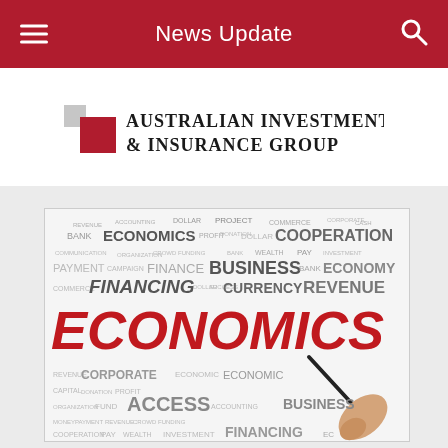News Update
[Figure (logo): Australian Investment & Insurance Group logo with two overlapping squares (gray and red) beside the company name in serif font]
[Figure (photo): Word cloud illustration featuring economics and finance terms. Dominant large red bold text reads ECONOMICS in the center. Other visible words include BANK, COOPERATION, BUSINESS, FINANCE, FINANCING, CURRENCY, REVENUE, CORPORATE, ECONOMIC, ACCESS, ACCOUNTING, PAYMENT, COMMERCE, MANAGEMENT, PROJECT, PROFIT, DOLLAR, WEALTH, ECONOMY, PAY, FUND, DONATION, CAPITAL. A hand holding a black pen/marker is shown writing in the lower right. Words appear in varying sizes and shades of gray and red.]